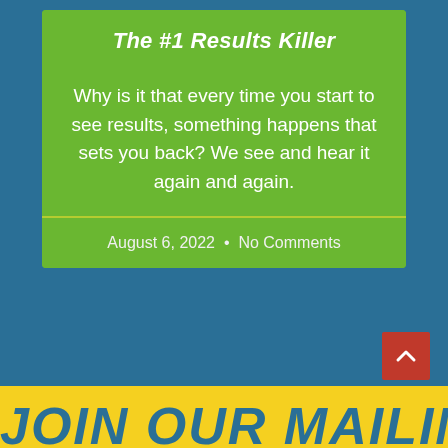The #1 Results Killer
Why is it that every time you start to see results, something happens that sets you back? We see and hear it again and again.
August 6, 2022  •  No Comments
JOIN OUR MAILING